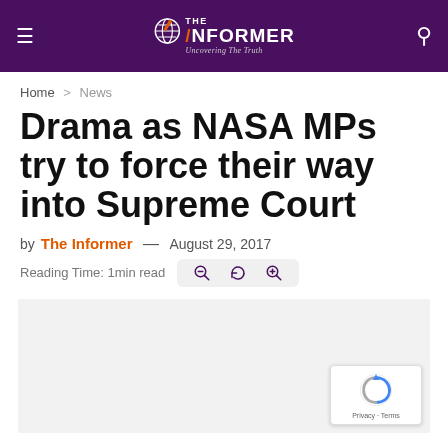THE INFORMER — Uncovering The Truth
Home > News
Drama as NASA MPs try to force their way into Supreme Court
by The Informer — August 29, 2017
Reading Time: 1min read
[Figure (photo): Article image placeholder (light gray background)]